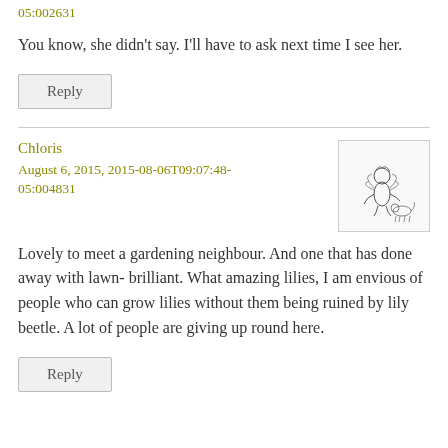05:002631
You know, she didn't say. I'll have to ask next time I see her.
Reply
Chloris
August 6, 2015, 2015-08-06T09:07:48-05:004831
[Figure (illustration): Small vintage illustration of a fairy or pixie figure with wings pushing or pulling a small animal]
Lovely to meet a gardening neighbour. And one that has done away with lawn- brilliant. What amazing lilies, I am envious of people who can grow lilies without them being ruined by lily beetle. A lot of people are giving up round here.
Reply